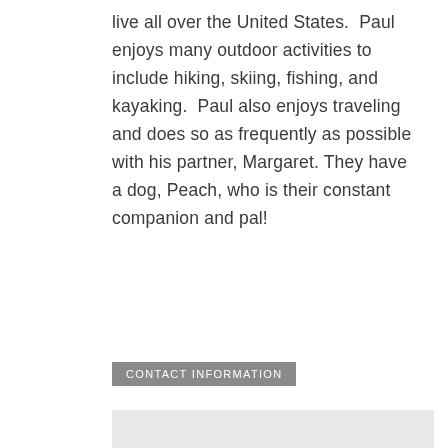live all over the United States.  Paul enjoys many outdoor activities to include hiking, skiing, fishing, and kayaking.  Paul also enjoys traveling and does so as frequently as possible with his partner, Margaret. They have a dog, Peach, who is their constant companion and pal!
CONTACT INFORMATION